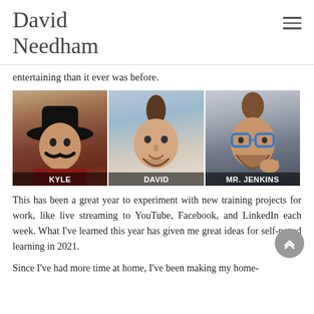David Needham
entertaining than it ever was before.
[Figure (photo): Three-panel image showing Kyle (person wearing cowboy hat with costume mustache), David (young man with mohawk hairstyle), and Mr. Jenkins (man with glasses and beard), each labeled with their name at the bottom of the panel.]
This has been a great year to experiment with new training projects for work, like live streaming to YouTube, Facebook, and LinkedIn each week. What I've learned this year has given me great ideas for self-paced learning in 2021.
Since I've had more time at home, I've been making my home-